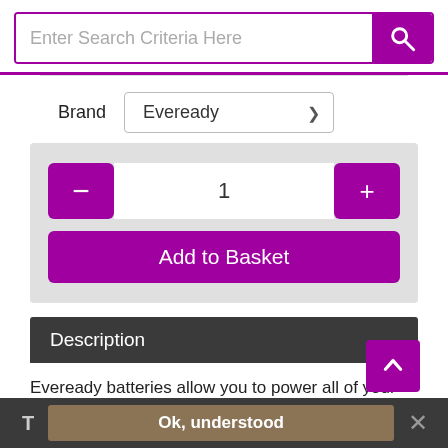[Figure (screenshot): Search bar with placeholder 'Enter Search Criteria Here' and a purple search button with magnifier icon]
Brand   Eveready
[Figure (screenshot): Quantity selector with purple minus and plus buttons showing value 1, and a purple 'Add to Basket' button below on grey background]
Description
Eveready batteries allow you to power all of your devices with ease, ensuring that they can last for longer without any poor
[Figure (screenshot): Cookie consent bar with 'T' label, 'Ok, understood' button and 'x' close icon on dark background]